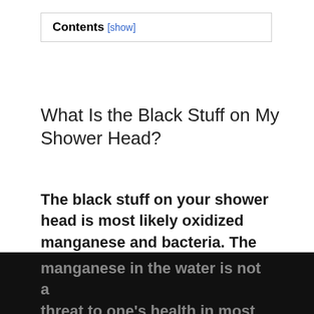Contents [show]
What Is the Black Stuff on My Shower Head?
The black stuff on your shower head is most likely oxidized manganese and bacteria. The interaction between the oxidized manganese and the bacteria that eat it produces black gunk and stains. Don't worry, the presence of bacteria and manganese in the water is not a threat to one's health in most cases